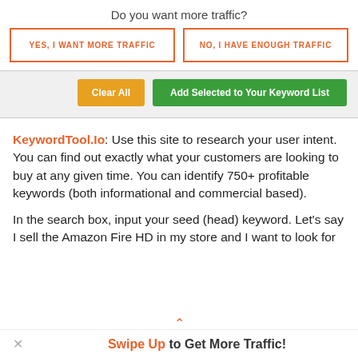Do you want more traffic?
[Figure (screenshot): Two CTA buttons side by side: 'YES, I WANT MORE TRAFFIC' and 'NO, I HAVE ENOUGH TRAFFIC', both with orange borders and orange text on white background]
[Figure (screenshot): Toolbar with 'Clear All' (orange button) and 'Add Selected to Your Keyword List' (green button) on a light grey background]
KeywordTool.Io: Use this site to research your user intent. You can find out exactly what your customers are looking to buy at any given time. You can identify 750+ profitable keywords (both informational and commercial based).
In the search box, input your seed (head) keyword. Let's say I sell the Amazon Fire HD in my store and I want to look for
Swipe Up to Get More Traffic!